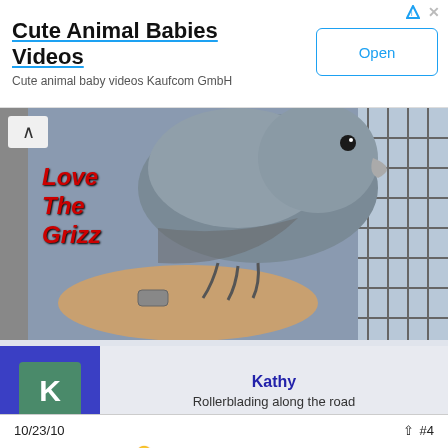[Figure (screenshot): Advertisement banner for 'Cute Animal Babies Videos' app with Open button]
[Figure (photo): Video thumbnail showing a grey parrot (African Grey) on a person's arm, with red italic text overlay reading 'Love The Grizz' and a cage in the background]
Kathy
Rollerblading along the road
10/23/10
#4
Hi All, Beakner here. 😁
Everyone know's that daddy's my favorite. I just love torturing